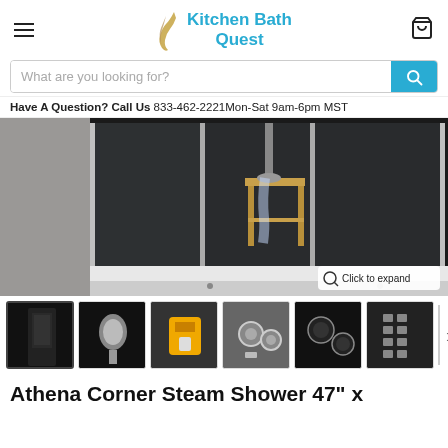Kitchen Bath Quest
What are you looking for?
Have A Question? Call Us  833-462-2221Mon-Sat 9am-6pm MST
[Figure (photo): Product main image: Steam shower enclosure with glass panels, wooden stool inside, viewed from front-bottom angle. 'Click to expand' badge in bottom right.]
[Figure (photo): Thumbnail row showing 6 product detail images of the Athena Corner Steam Shower: full unit, handheld shower head, steam generator, faucet valves, control knobs, control panel. Arrow to scroll more thumbnails.]
Athena Corner Steam Shower 47" x